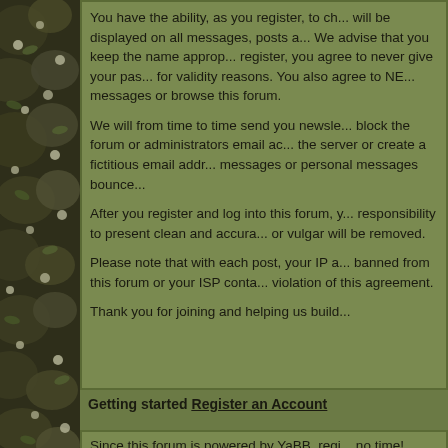[Figure (photo): Vertical strip photo of rocks/moss/plants on left side of page]
You have the ability, as you register, to ch... will be displayed on all messages, posts a... We advise that you keep the name approp... register, you agree to never give your pas... for validity reasons. You also agree to NE... messages or browse this forum.

We will from time to time send you newsle... block the forum or administrators email ac... the server or create a fictitious email addr... messages or personal messages bounce...

After you register and log into this forum, y... responsibility to present clean and accura... or vulgar will be removed.

Please note that with each post, your IP a... banned from this forum or your ISP conta... violation of this agreement.

Thank you for joining and helping us build...
Getting started
Register an Account
Since this forum is powered by YaBB, regi... no time!

Step 1: In the menu above, you will see it...